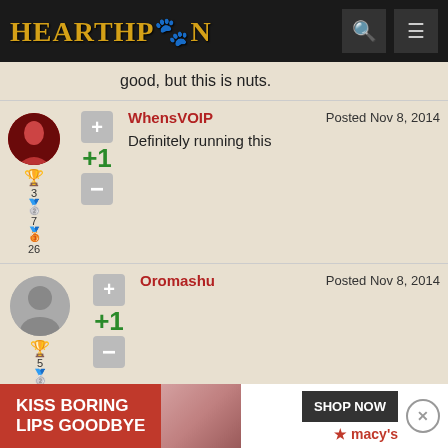HearthPwn
good, but this is nuts.
WhensVOIP  Posted Nov 8, 2014  +1  Definitely running this
Oromashu  Posted Nov 8, 2014  +1
[Figure (screenshot): Advertisement banner: KISS BORING LIPS GOODBYE - SHOP NOW - macys with star logo]